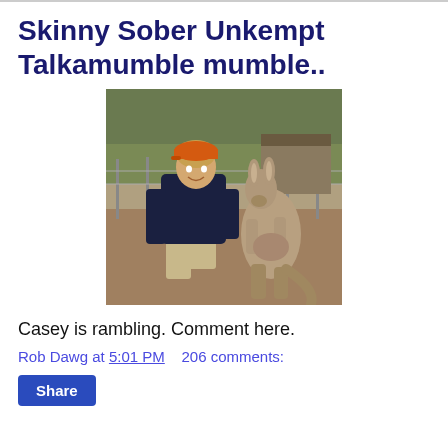Skinny Sober Unkempt Talkamumble mumble..
[Figure (photo): Person wearing an orange cap and dark hoodie crouching and feeding/interacting with a kangaroo in an outdoor enclosure with dirt ground and fence in background.]
Casey is rambling. Comment here.
Rob Dawg at 5:01 PM   206 comments:
Share